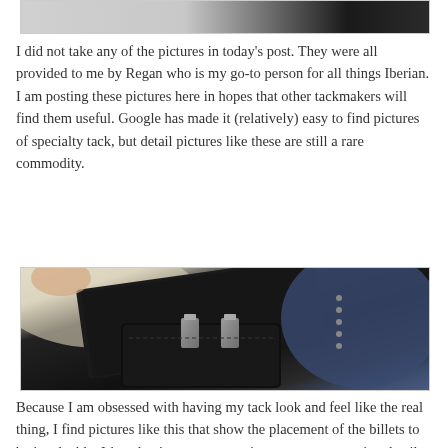[Figure (photo): Partial view of a photo at the top of the page showing what appears to be equestrian tack/saddle equipment]
I did not take any of the pictures in today's post. They were all provided to me by Regan who is my go-to person for all things Iberian. I am posting these pictures here in hopes that other tackmakers will find them useful. Google has made it (relatively) easy to find pictures of specialty tack, but detail pictures like these are still a rare commodity.
[Figure (photo): Close-up photo of dark leather Iberian horse tack/saddle billets showing construction details and placement]
Because I am obsessed with having my tack look and feel like the real thing, I find pictures like this that show the placement of the billets to be invaluable. I hate having to guess on important construction details.